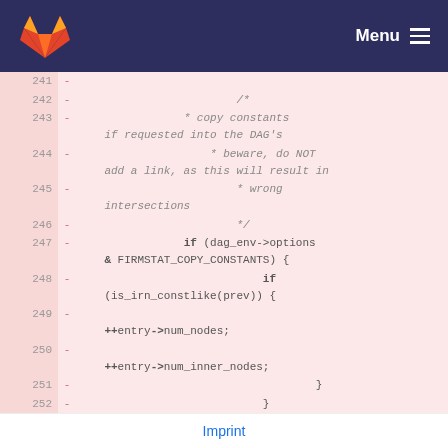GitLab — Menu
[Figure (screenshot): Code diff view showing lines 241-252 with removed lines (marked with -) containing C code for copy constants comment block and if statements with dag_env->options, FIRMSTAT_COPY_CONSTANTS, is_irn_constlike, ++entry->num_nodes, ++entry->num_inner_nodes]
Imprint